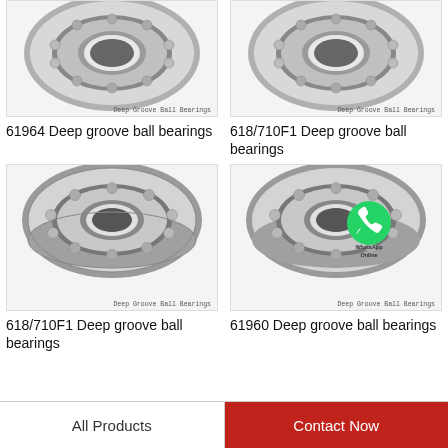[Figure (photo): Deep groove ball bearing photo, top-left, partially cropped at top, labeled 'Deep Groove Ball Bearings']
61964 Deep groove ball bearings
[Figure (photo): Deep groove ball bearing photo, top-right, partially cropped at top, labeled 'Deep Groove Ball Bearings']
618/710F1 Deep groove ball bearings
[Figure (photo): Deep groove ball bearing full view photo, bottom-left, labeled 'Deep Groove Ball Bearings']
618/710F1 Deep groove ball bearings
[Figure (photo): Deep groove ball bearing photo with WhatsApp Online badge overlay, bottom-right, labeled 'Deep Groove Ball Bearings']
61960 Deep groove ball bearings
All Products
Contact Now